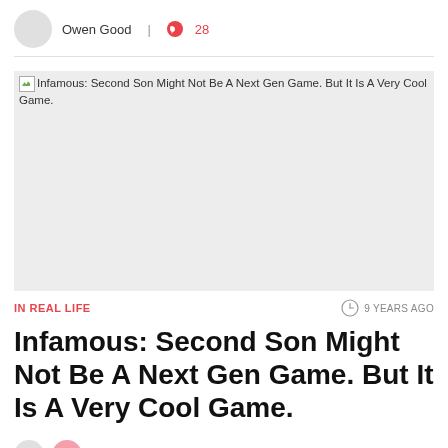Owen Good  |  28
[Figure (photo): Broken image placeholder for article: Infamous: Second Son Might Not Be A Next Gen Game. But It Is A Very Cool Game.]
IN REAL LIFE
9 YEARS AGO
Infamous: Second Son Might Not Be A Next Gen Game. But It Is A Very Cool Game.